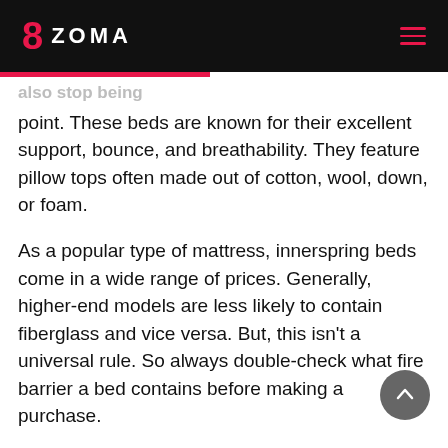ZOMA
...also stop being point. These beds are known for their excellent support, bounce, and breathability. They feature pillow tops often made out of cotton, wool, down, or foam.
As a popular type of mattress, innerspring beds come in a wide range of prices. Generally, higher-end models are less likely to contain fiberglass and vice versa. But, this isn't a universal rule. So always double-check what fire barrier a bed contains before making a purchase.